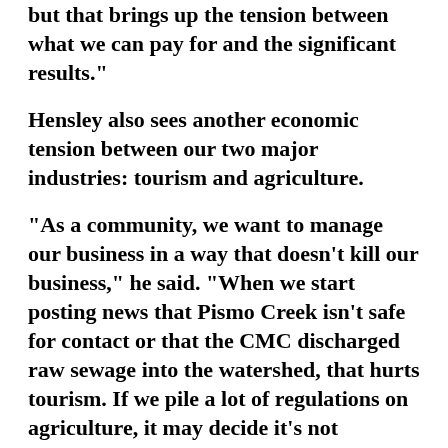but that brings up the tension between what we can pay for and the significant results."
Hensley also sees another economic tension between our two major industries: tourism and agriculture.
"As a community, we want to manage our business in a way that doesn't kill our business," he said. "When we start posting news that Pismo Creek isn't safe for contact or that the CMC discharged raw sewage into the watershed, that hurts tourism. If we pile a lot of regulations on agriculture, it may decide it's not profitable to continue in business here. But waiving environmental responsibility is a very short-term strategy. Being environmentally responsible is good business in the long-term."